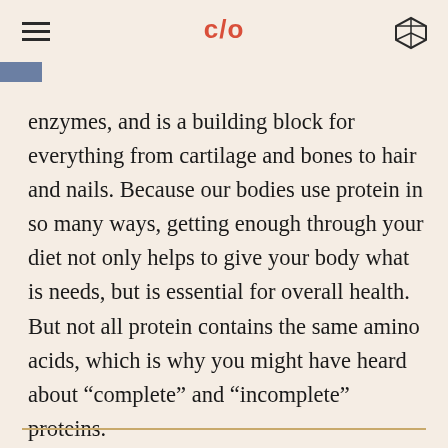c/o
enzymes, and is a building block for everything from cartilage and bones to hair and nails. Because our bodies use protein in so many ways, getting enough through your diet not only helps to give your body what is needs, but is essential for overall health. But not all protein contains the same amino acids, which is why you might have heard about “complete” and “incomplete” proteins.